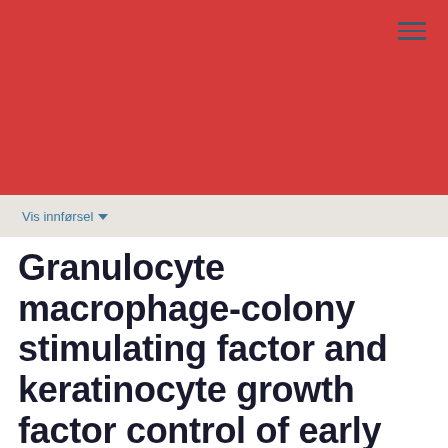[Figure (illustration): Solid red/crimson rectangular banner header area occupying the top portion of the page, with a hamburger menu icon (three horizontal lines) in the top-right corner.]
Vis innførsel ▾
Granulocyte macrophage-colony stimulating factor and keratinocyte growth factor control of early stages of differentiation of oral epithelium